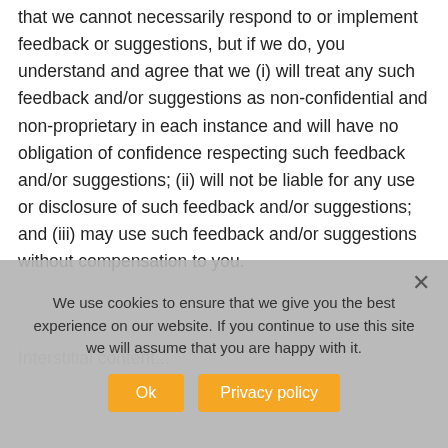that we cannot necessarily respond to or implement feedback or suggestions, but if we do, you understand and agree that we (i) will treat any such feedback and/or suggestions as non-confidential and non-proprietary in each instance and will have no obligation of confidence respecting such feedback and/or suggestions; (ii) will not be liable for any use or disclosure of such feedback and/or suggestions; and (iii) may use such feedback and/or suggestions without compensation to you.
We use cookies to ensure that we give you the best experience on our website. If you continue to use this site we will assume that you are happy with it.